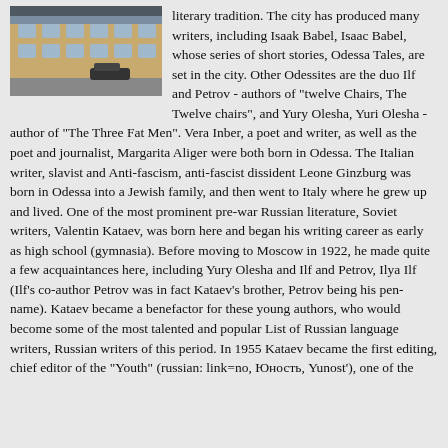[Figure (photo): Photograph of a building facade with cars parked in front, partially cut off at top]
literary tradition. The city has produced many writers, including Isaak Babel, Isaac Babel, whose series of short stories, Odessa Tales, are set in the city. Other Odessites are the duo Ilf and Petrov - authors of "twelve Chairs, The Twelve chairs", and Yury Olesha, Yuri Olesha - author of "The Three Fat Men". Vera Inber, a poet and writer, as well as the poet and journalist, Margarita Aliger were both born in Odessa. The Italian writer, slavist and Anti-fascism, anti-fascist dissident Leone Ginzburg was born in Odessa into a Jewish family, and then went to Italy where he grew up and lived. One of the most prominent pre-war Russian literature, Soviet writers, Valentin Kataev, was born here and began his writing career as early as high school (gymnasia). Before moving to Moscow in 1922, he made quite a few acquaintances here, including Yury Olesha and Ilf and Petrov, Ilya Ilf (Ilf's co-author Petrov was in fact Kataev's brother, Petrov being his pen-name). Kataev became a benefactor for these young authors, who would become some of the most talented and popular List of Russian language writers, Russian writers of this period. In 1955 Kataev became the first editing, chief editor of the "Youth" (russian: link=no, Юность, Yunost'), one of the